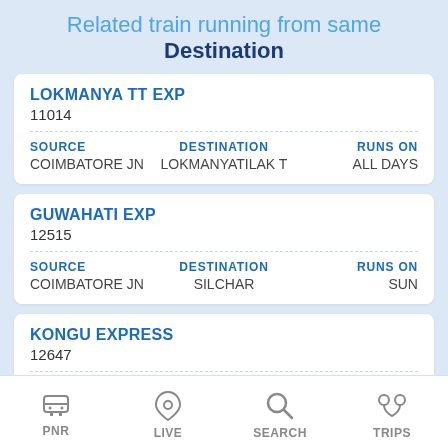Related train running from same Destination
LOKMANYA TT EXP
11014
SOURCE: COIMBATORE JN
DESTINATION: LOKMANYATILAK T
RUNS ON: ALL DAYS
GUWAHATI EXP
12515
SOURCE: COIMBATORE JN
DESTINATION: SILCHAR
RUNS ON: SUN
KONGU EXPRESS
12647
SOURCE: COIMBATORE JN
DESTINATION: H NIZAMUDDIN
RUNS ON: SUN
CHE... EXPRESS
126...
SOURCE
DESTIN...
PNR  LIVE  SEARCH  TRIPS